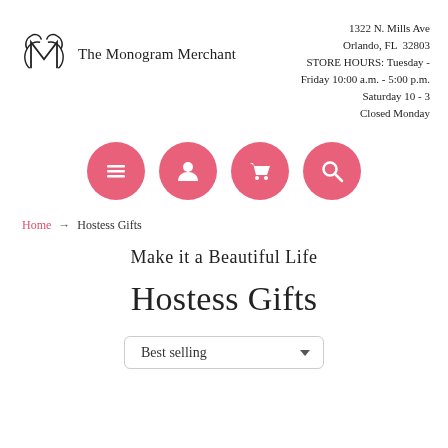[Figure (logo): The Monogram Merchant logo with decorative M monogram and store name]
1322 N. Mills Ave
Orlando, FL  32803
STORE HOURS: Tuesday - Friday 10:00 a.m. - 5:00 p.m.
Saturday 10 - 3
Closed Monday
[Figure (infographic): Four pink circular navigation icons: menu (hamburger), account (person), shopping cart, and search (magnifying glass)]
Home → Hostess Gifts
Make it a Beautiful Life
Hostess Gifts
Best selling